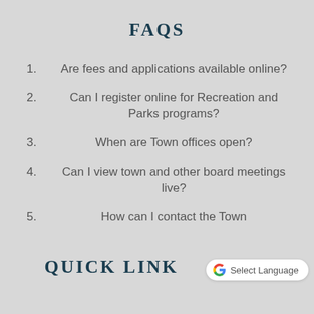FAQS
1.   Are fees and applications available online?
2.   Can I register online for Recreation and Parks programs?
3.   When are Town offices open?
4.   Can I view town and other board meetings live?
5.   How can I contact the Town
QUICK LINKS